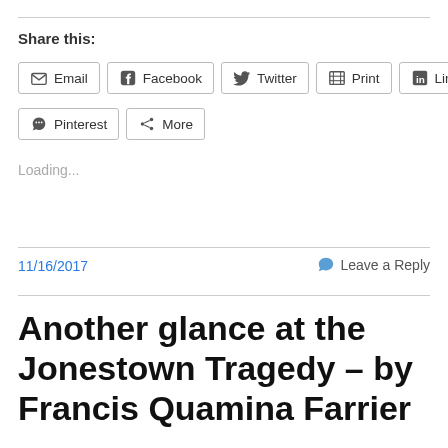Share this:
Email  Facebook  Twitter  Print  LinkedIn  Pinterest  More
Loading...
11/16/2017
Leave a Reply
Another glance at the Jonestown Tragedy – by Francis Quamina Farrier